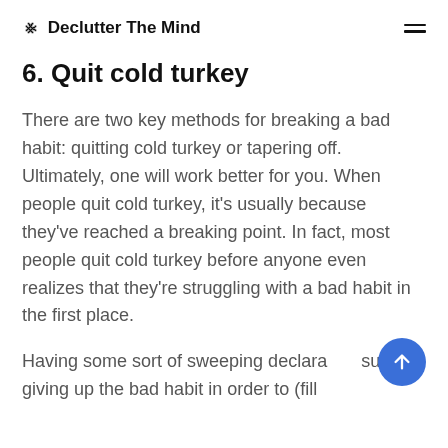⊗ Declutter The Mind
6. Quit cold turkey
There are two key methods for breaking a bad habit: quitting cold turkey or tapering off. Ultimately, one will work better for you. When people quit cold turkey, it's usually because they've reached a breaking point. In fact, most people quit cold turkey before anyone even realizes that they're struggling with a bad habit in the first place.
Having some sort of sweeping declaration such as giving up the bad habit in order to (fill